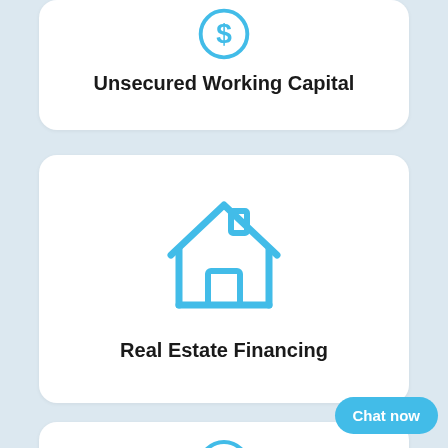[Figure (illustration): Blue circle with dollar sign icon (partially visible at top of card)]
Unsecured Working Capital
[Figure (illustration): Blue house/home icon]
Real Estate Financing
[Figure (illustration): Blue clock icon (partially visible at bottom of page)]
Chat now